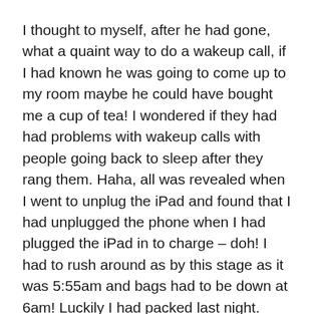I thought to myself, after he had gone, what a quaint way to do a wakeup call, if I had known he was going to come up to my room maybe he could have bought me a cup of tea! I wondered if they had had problems with wakeup calls with people going back to sleep after they rang them. Haha, all was revealed when I went to unplug the iPad and found that I had unplugged the phone when I had plugged the iPad in to charge – doh! I had to rush around as by this stage as it was 5:55am and bags had to be down at 6am! Luckily I had packed last night.
So the good news today was that we were only riding 85k, the bad news was it was in 33+ degrees heat, and there were two significant hills – one was 5k and one was 10k, with some serious steep bits, one with a 15% gradient. I managed to get up the hills, although at one point I did hit